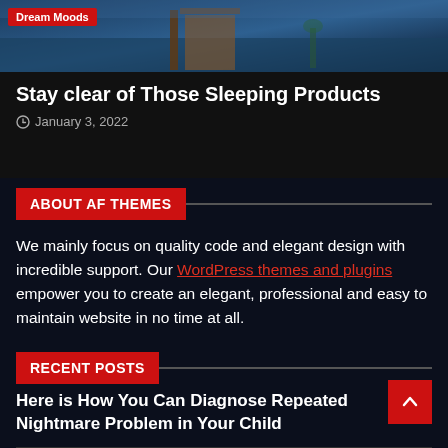[Figure (photo): Tropical beach scene with pier/dock extending over water, with 'Dream Moods' red badge overlay in top-left corner]
Stay clear of Those Sleeping Products
January 3, 2022
ABOUT AF THEMES
We mainly focus on quality code and elegant design with incredible support. Our WordPress themes and plugins empower you to create an elegant, professional and easy to maintain website in no time at all.
RECENT POSTS
Here is How You Can Diagnose Repeated Nightmare Problem in Your Child